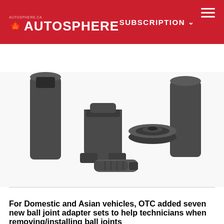AUTOSPHERE — SUBSCRIPTION — Français
[Figure (photo): Ball joint adapter set components laid out on white background: two cylindrical adapters, a U-shaped bracket, a flat circular disc, and a cylindrical pin/bolt.]
For Domestic and Asian vehicles, OTC added seven new ball joint adapter sets to help technicians when removing/installing ball joints